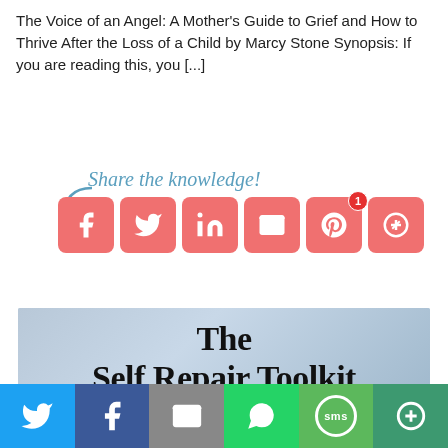The Voice of an Angel: A Mother's Guide to Grief and How to Thrive After the Loss of a Child by Marcy Stone Synopsis: If you are reading this, you [...]
[Figure (infographic): Share the knowledge social media sharing buttons: Facebook, Twitter, LinkedIn, Email, Pinterest, More with curved arrow pointing to buttons]
[Figure (photo): Book cover image showing 'The Self Repair Toolkit' in bold serif text with subtitle 'JOURNEY TOWARDS SELF-EMPOWERMENT' on a blue-grey background]
[Figure (infographic): Bottom share bar with Twitter, Facebook, Email, WhatsApp, SMS, and More buttons in respective brand colors]